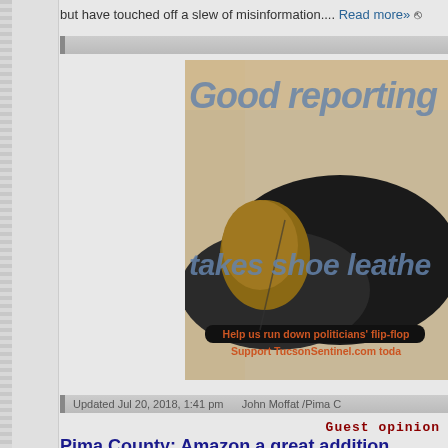but have touched off a slew of misinformation.... Read more»
[Figure (illustration): Advertisement banner for TucsonSentinel.com showing a black leather shoe with text 'Good reporting takes shoe leather' and 'Help us run down politicians' flip-flop. Support TucsonSentinel.com today']
Updated Jul 20, 2018, 1:41 pm    John Moffat /Pima C
Guest opinion
Pima County: Amazon a great addition